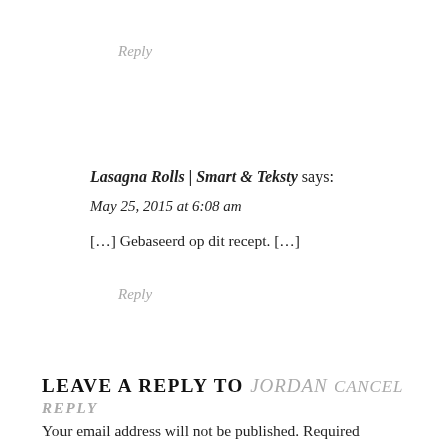Reply
Lasagna Rolls | Smart & Teksty says:
May 25, 2015 at 6:08 am
[…] Gebaseerd op dit recept. […]
Reply
LEAVE A REPLY TO JORDAN CANCEL REPLY
Your email address will not be published. Required